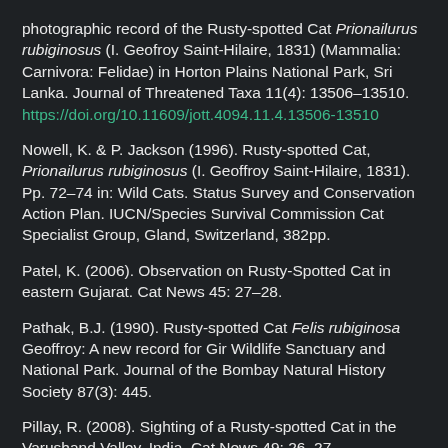photographic record of the Rusty-spotted Cat Prionailurus rubiginosus (I. Geofroy Saint-Hilaire, 1831) (Mammalia: Carnivora: Felidae) in Horton Plains National Park, Sri Lanka. Journal of Threatened Taxa 11(4): 13506–13510. https://doi.org/10.11609/jott.4094.11.4.13506-13510
Nowell, K. & P. Jackson (1996). Rusty-spotted Cat, Prionailurus rubiginosus (I. Geoffroy Saint-Hilaire, 1831). Pp. 72–74 in: Wild Cats. Status Survey and Conservation Action Plan. IUCN/Species Survival Commission Cat Specialist Group, Gland, Switzerland, 382pp.
Patel, K. (2006). Observation on Rusty-Spotted Cat in eastern Gujarat. Cat News 45: 27–28.
Pathak, B.J. (1990). Rusty-spotted Cat Felis rubiginosa Geoffroy: A new record for Gir Wildlife Sanctuary and National Park. Journal of the Bombay Natural History Society 87(3): 445.
Pillay, R. (2008). Sighting of a Rusty-spotted Cat in the Varushand Valley, India. Cat News 49: 26–27.
Pocock, R.I. (1939). Prionailurus rubiginosus Geoffroy. The...